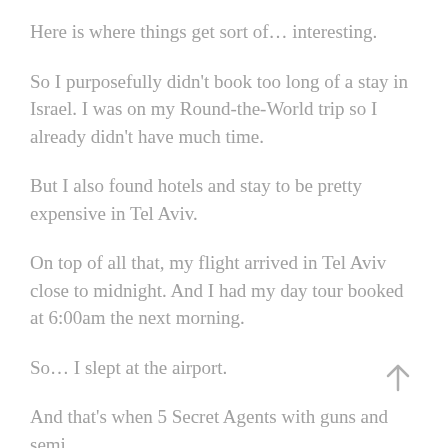Here is where things get sort of… interesting.
So I purposefully didn't book too long of a stay in Israel. I was on my Round-the-World trip so I already didn't have much time.
But I also found hotels and stay to be pretty expensive in Tel Aviv.
On top of all that, my flight arrived in Tel Aviv close to midnight. And I had my day tour booked at 6:00am the next morning.
So… I slept at the airport.
And that's when 5 Secret Agents with guns and semi